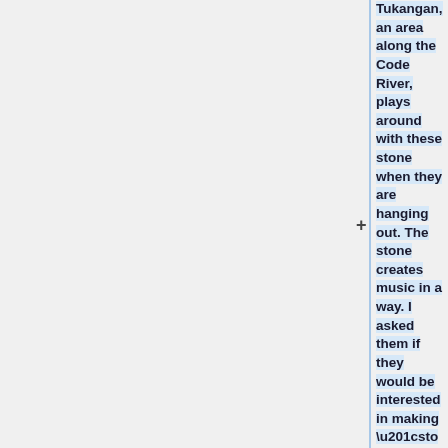Tukangan, an area along the Code River, plays around with these stone when they are hanging out. The stone creates music in a way. I asked them if they would be interested in making “stone music” together, they told me that they have already been discussing about exploring stone as music,